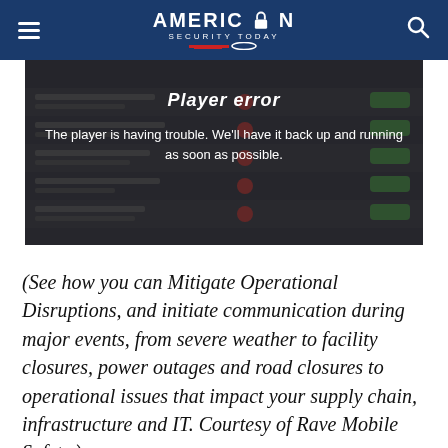AMERICAN SECURITY TODAY
[Figure (screenshot): Video player error screenshot showing 'Player error' title and message 'The player is having trouble. We'll have it back up and running as soon as possible.' overlaid on a dark video player interface with a list of items.]
(See how you can Mitigate Operational Disruptions, and initiate communication during major events, from severe weather to facility closures, power outages and road closures to operational issues that impact your supply chain, infrastructure and IT. Courtesy of Rave Mobile Safety.)